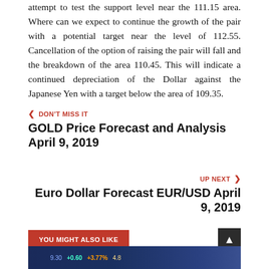attempt to test the support level near the 111.15 area. Where can we expect to continue the growth of the pair with a potential target near the level of 112.55. Cancellation of the option of raising the pair will fall and the breakdown of the area 110.45. This will indicate a continued depreciation of the Dollar against the Japanese Yen with a target below the area of 109.35.
< DON'T MISS IT
GOLD Price Forecast and Analysis April 9, 2019
UP NEXT >
Euro Dollar Forecast EUR/USD April 9, 2019
YOU MIGHT ALSO LIKE
[Figure (screenshot): Preview bar showing financial ticker data with colored numbers]